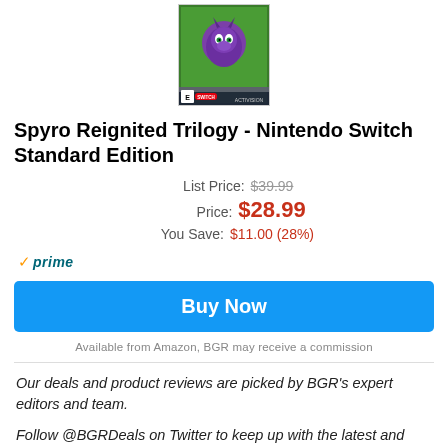[Figure (photo): Spyro Reignited Trilogy Nintendo Switch game box art showing the purple dragon character on a colorful background]
Spyro Reignited Trilogy - Nintendo Switch Standard Edition
List Price: $39.99
Price: $28.99
You Save: $11.00 (28%)
prime
Buy Now
Available from Amazon, BGR may receive a commission
Our deals and product reviews are picked by BGR's expert editors and team.
Follow @BGRDeals on Twitter to keep up with the latest and greatest deals we find around the web. Prices subject to change without notice and any coupons mentioned above may be